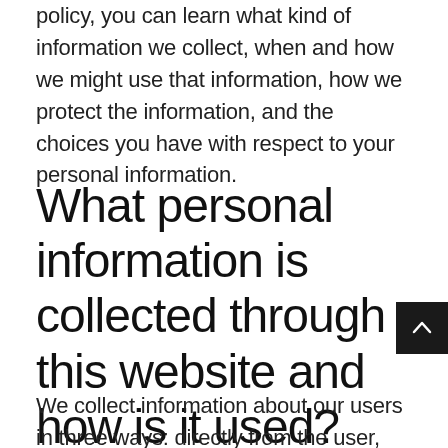policy, you can learn what kind of information we collect, when and how we might use that information, how we protect the information, and the choices you have with respect to your personal information.
What personal information is collected through this website and how is it used?
We collect information about our users in three ways: directly from the user, from our Web...